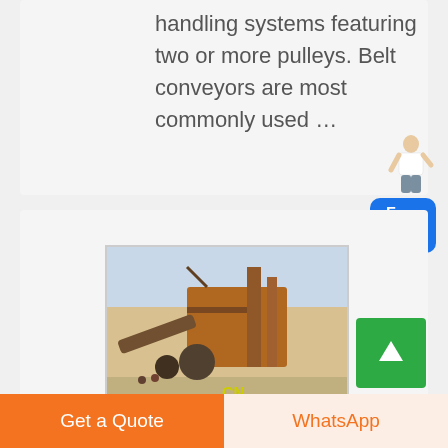handling systems featuring two or more pulleys. Belt conveyors are most commonly used ...
[Figure (photo): Industrial mining/crushing machinery with conveyor belts and heavy equipment, watermarked with 'CN' in yellow]
[Figure (illustration): Free chat widget with a female assistant figure and blue button labeled 'Free chat']
[Figure (other): Green scroll-to-top button with upward arrow]
Get a Quote
WhatsApp